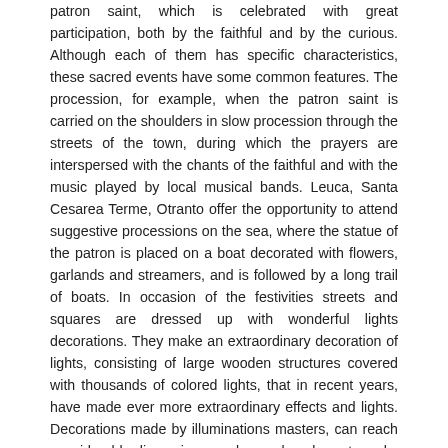patron saint, which is celebrated with great participation, both by the faithful and by the curious. Although each of them has specific characteristics, these sacred events have some common features. The procession, for example, when the patron saint is carried on the shoulders in slow procession through the streets of the town, during which the prayers are interspersed with the chants of the faithful and with the music played by local musical bands. Leuca, Santa Cesarea Terme, Otranto offer the opportunity to attend suggestive processions on the sea, where the statue of the patron is placed on a boat decorated with flowers, garlands and streamers, and is followed by a long trail of boats. In occasion of the festivities streets and squares are dressed up with wonderful lights decorations. They make an extraordinary decoration of lights, consisting of large wooden structures covered with thousands of colored lights, that in recent years, have made ever more extraordinary effects and lights. Decorations made by illuminations masters, can reach considerable dimensions, and reproduce large tunnels, towers, castles and cathedrals. The festivals are then concluded by fireworks, that normally take place at night. Among the patronal feasts, the white nights, and historical re-enactments, we do point out at least the famous “Notte della Taranta” held in Melpignano.